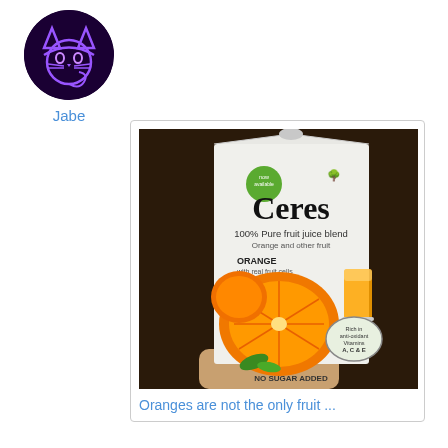[Figure (photo): Circular user avatar with a neon cat logo on dark purple background]
Jabe
[Figure (photo): Photograph of a Ceres 100% Pure fruit juice blend Orange carton held in someone's hand against a dark background. The carton shows the Ceres brand name, '100% Pure fruit juice blend', 'Orange and other fruit', 'ORANGE with real fruit cells', images of oranges and a glass of juice, a badge saying 'Rich in anti-oxidant Vitamins A, C & E', and 'NO SUGAR ADDED' at the bottom.]
Oranges are not the only fruit ...